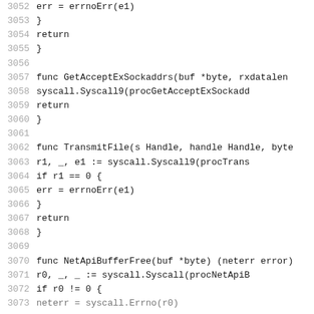[Figure (screenshot): Source code listing in Go language, showing lines 3052-3072, including functions GetAcceptExSockaddrs, TransmitFile, and NetApiBufferFree with syscall invocations and error handling.]